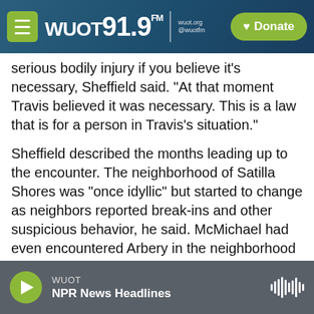WUOT 91.9 FM | Donate
serious bodily injury if you believe it's necessary, Sheffield said. "At that moment Travis believed it was necessary. This is a law that is for a person in Travis's situation."
Sheffield described the months leading up to the encounter. The neighborhood of Satilla Shores was "once idyllic" but started to change as neighbors reported break-ins and other suspicious behavior, he said. McMichael had even encountered Arbery in the neighborhood once before, Sheffield added, a meeting that left McMichael shaken.
It was with that knowledge that he and his father
WUOT — NPR News Headlines